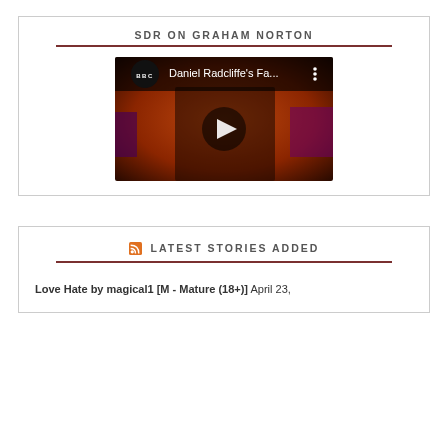SDR ON GRAHAM NORTON
[Figure (screenshot): YouTube video thumbnail showing Daniel Radcliffe's Fa... with BBC logo, play button, and three-dot menu icon. The background shows a figure on an orange/red stage.]
LATEST STORIES ADDED
Love Hate by magical1 [M - Mature (18+)] April 23,